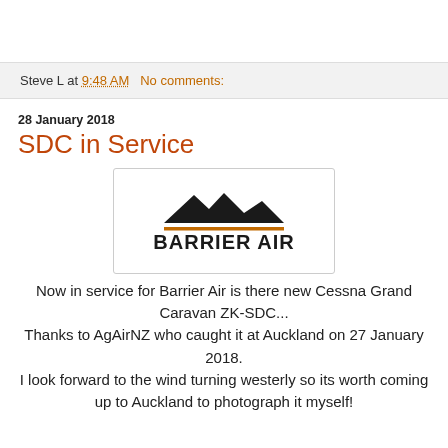Steve L at 9:48 AM   No comments:
28 January 2018
SDC in Service
[Figure (logo): Barrier Air logo with mountain silhouette and bold text 'BARRIER AIR' with orange underline]
Now in service for Barrier Air is there new Cessna Grand Caravan ZK-SDC...
Thanks to AgAirNZ who caught it at Auckland on 27 January 2018.
I look forward to the wind turning westerly so its worth coming up to Auckland to photograph it myself!